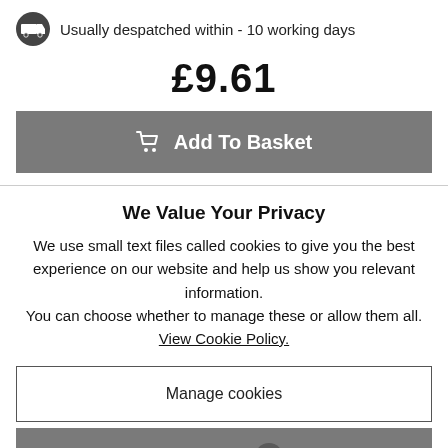Usually despatched within - 10 working days
£9.61
Add To Basket
We Value Your Privacy
We use small text files called cookies to give you the best experience on our website and help us show you relevant information.
You can choose whether to manage these or allow them all.
View Cookie Policy.
Manage cookies
Allow All